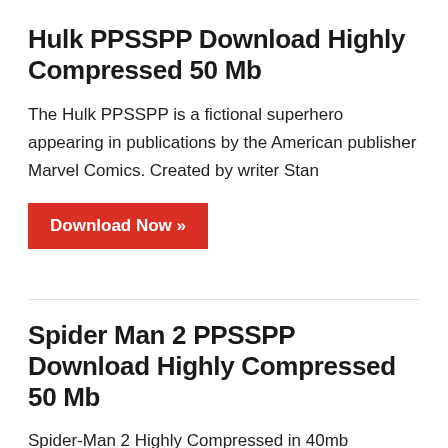Hulk PPSSPP Download Highly Compressed 50 Mb
The Hulk PPSSPP is a fictional superhero appearing in publications by the American publisher Marvel Comics. Created by writer Stan
[Figure (other): Red download button with text 'Download Now »']
Spider Man 2 PPSSPP Download Highly Compressed 50 Mb
Spider-Man 2 Highly Compressed in 40mb download is a 2004 American superhero film directed by Sam Raimi and written by